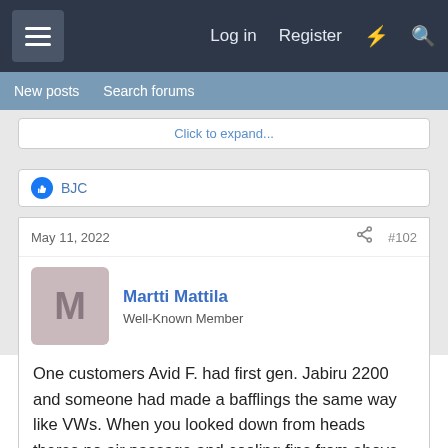Log in  Register
New posts  Search forums
Click to expand...
BJC
May 11, 2022  #102
Martti Mattila
Well-Known Member
One customers Avid F. had first gen. Jabiru 2200 and someone had made a bafflings the same way like VWs. When you looked down from heads theres no air passage and cooling fins from above to down to do the job at all. So air should flow vertical to do the job. That is the way that those glasfiber srouds are made in J. factory. Maybe bad Jabirus in Europa is derivated from this. They are baffled like VW s.